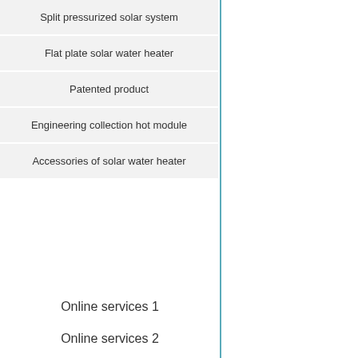Split pressurized solar system
Flat plate solar water heater
Patented product
Engineering collection hot module
Accessories of solar water heater
Online services 1
Online services 2